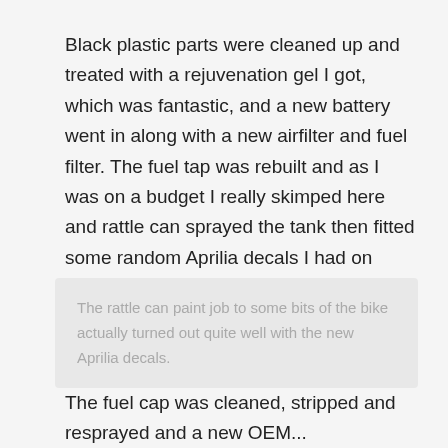Black plastic parts were cleaned up and treated with a rejuvenation gel I got, which was fantastic, and a new battery went in along with a new airfilter and fuel filter. The fuel tap was rebuilt and as I was on a budget I really skimped here and rattle can sprayed the tank then fitted some random Aprilia decals I had on hand. Looks OK to me!
The rattle can paint job to some bits of the bike actually turned out quite well with the new Aprilia decals.
The fuel cap was cleaned, stripped and resprayed and a new OEM...